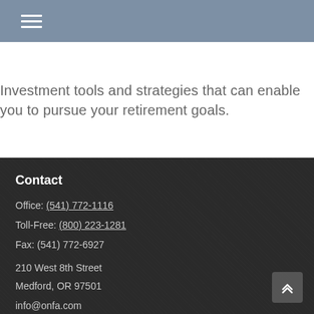Investment tools and strategies that can enable you to pursue your retirement goals.
Contact
Office: (541) 772-1116
Toll-Free: (800) 223-1281
Fax: (541) 772-6927
210 West 8th Street
Medford, OR 97501
info@onfa.com